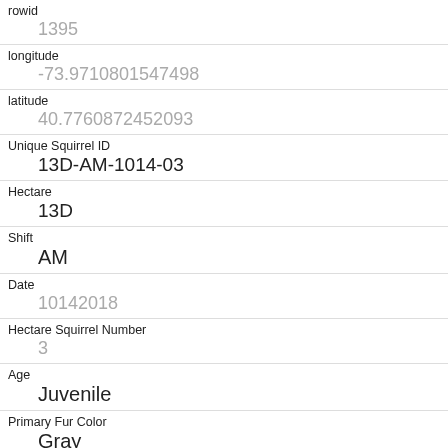| Field | Value |
| --- | --- |
| rowid | 1395 |
| longitude | -73.9710801547498 |
| latitude | 40.7760872452093 |
| Unique Squirrel ID | 13D-AM-1014-03 |
| Hectare | 13D |
| Shift | AM |
| Date | 10142018 |
| Hectare Squirrel Number | 3 |
| Age | Juvenile |
| Primary Fur Color | Gray |
| Highlight Fur Color |  |